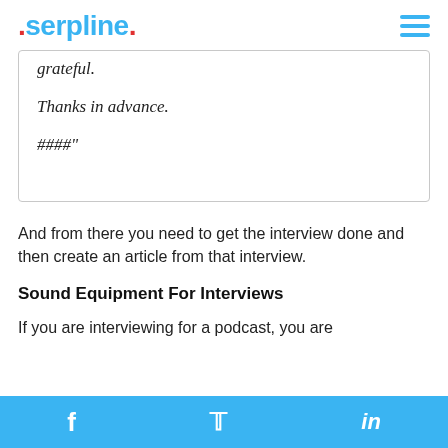serpline.
grateful.

Thanks in advance.

####"
And from there you need to get the interview done and then create an article from that interview.
Sound Equipment For Interviews
If you are interviewing for a podcast, you are
f  🐦  in